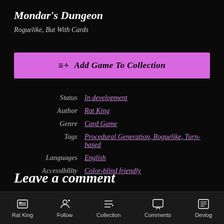Mondar's Dungeon
Roguelike, But With Cards
≡+ Add Game To Collection
| Label | Value |
| --- | --- |
| Status | In development |
| Author | Rat King |
| Genre | Card Game |
| Tags | Procedural Generation, Roguelike, Turn-based |
| Languages | English |
| Accessibility | Color-blind friendly |
Leave a comment
Log in with itch.io to leave a comment.
Rat King | Follow | Collection | Comments | Devlog